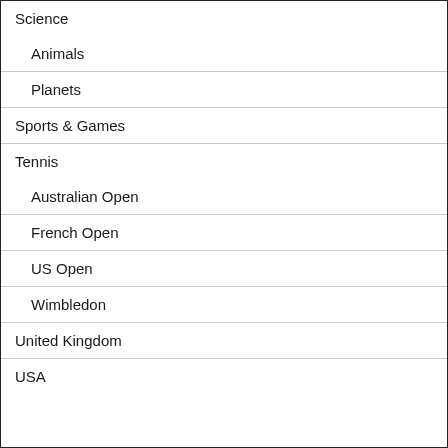Science
Animals
Planets
Sports & Games
Tennis
Australian Open
French Open
US Open
Wimbledon
United Kingdom
USA